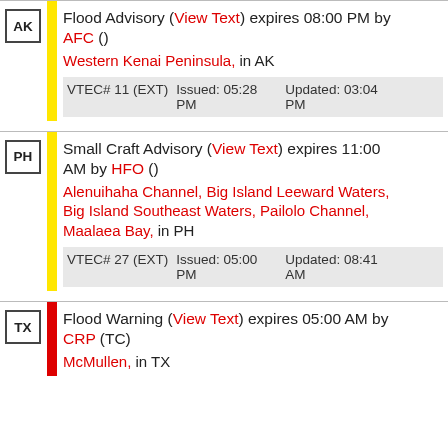AK | Flood Advisory (View Text) expires 08:00 PM by AFC () Western Kenai Peninsula, in AK VTEC# 11 (EXT) Issued: 05:28 PM Updated: 03:04 PM
PH | Small Craft Advisory (View Text) expires 11:00 AM by HFO () Alenuihaha Channel, Big Island Leeward Waters, Big Island Southeast Waters, Pailolo Channel, Maalaea Bay, in PH VTEC# 27 (EXT) Issued: 05:00 PM Updated: 08:41 AM
TX | Flood Warning (View Text) expires 05:00 AM by CRP (TC) McMullen, in TX